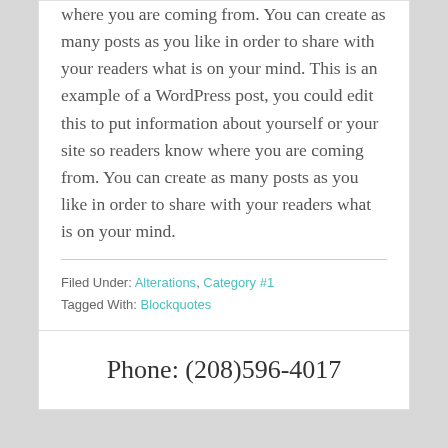where you are coming from. You can create as many posts as you like in order to share with your readers what is on your mind. This is an example of a WordPress post, you could edit this to put information about yourself or your site so readers know where you are coming from. You can create as many posts as you like in order to share with your readers what is on your mind.
Filed Under: Alterations, Category #1
Tagged With: Blockquotes
Phone: (208)596-4017